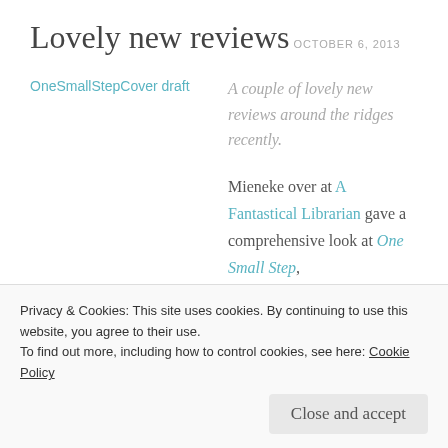Lovely new reviews
OCTOBER 6, 2013
[Figure (other): Broken image placeholder link text: OneSmallStepCover draft]
A couple of lovely new reviews around the ridges recently.
Mieneke over at A Fantastical Librarian gave a comprehensive look at One Small Step,
Privacy & Cookies: This site uses cookies. By continuing to use this website, you agree to their use. To find out more, including how to control cookies, see here: Cookie Policy
Close and accept